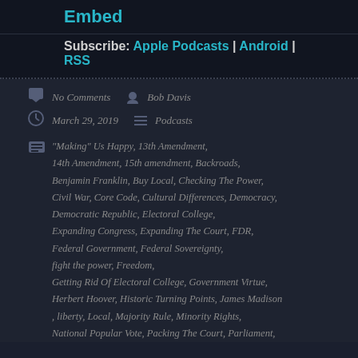Embed
Subscribe: Apple Podcasts | Android | RSS
No Comments
Bob Davis
March 29, 2019
Podcasts
"Making" Us Happy, 13th Amendment, 14th Amendment, 15th amendment, Backroads, Benjamin Franklin, Buy Local, Checking The Power, Civil War, Core Code, Cultural Differences, Democracy, Democratic Republic, Electoral College, Expanding Congress, Expanding The Court, FDR, Federal Government, Federal Sovereignty, fight the power, Freedom, Getting Rid Of Electoral College, Government Virtue, Herbert Hoover, Historic Turning Points, James Madison, liberty, Local, Majority Rule, Minority Rights, National Popular Vote, Packing The Court, Parliament,